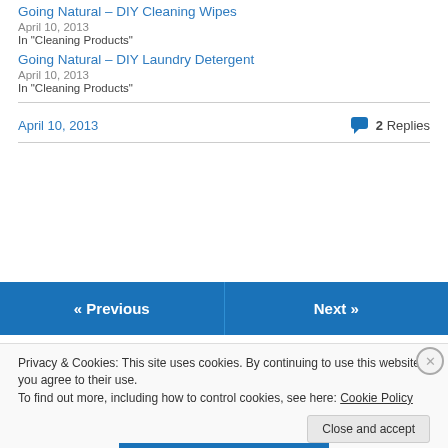Going Natural – DIY Cleaning Wipes
April 10, 2013
In "Cleaning Products"
Going Natural – DIY Laundry Detergent
April 10, 2013
In "Cleaning Products"
April 10, 2013
2 Replies
« Previous
Next »
Privacy & Cookies: This site uses cookies. By continuing to use this website, you agree to their use.
To find out more, including how to control cookies, see here: Cookie Policy
Close and accept